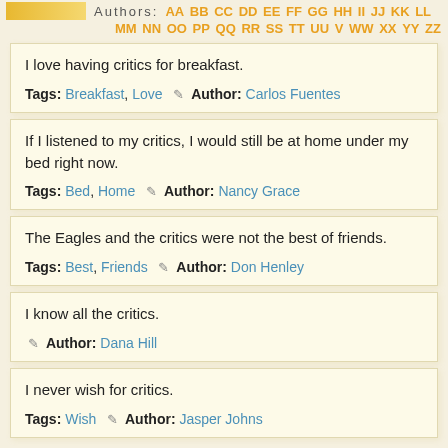Authors: AA BB CC DD EE FF GG HH II JJ KK LL MM NN OO PP QQ RR SS TT UU V WW XX YY ZZ
I love having critics for breakfast.
Tags: Breakfast, Love  ✎ Author: Carlos Fuentes
If I listened to my critics, I would still be at home under my bed right now.
Tags: Bed, Home  ✎ Author: Nancy Grace
The Eagles and the critics were not the best of friends.
Tags: Best, Friends  ✎ Author: Don Henley
I know all the critics.
✎ Author: Dana Hill
I never wish for critics.
Tags: Wish  ✎ Author: Jasper Johns